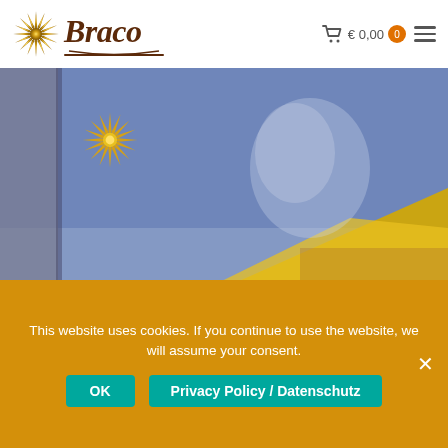[Figure (logo): Braco website logo with golden star/starburst icon and 'Braco' in brown italic script font, with a brown arc underline]
[Figure (photo): Hero image showing a man's face superimposed over a blue and yellow flag (resembling the Ukrainian flag), with a golden starburst icon in the upper left corner]
This website uses cookies. If you continue to use the website, we will assume your consent.
OK
Privacy Policy / Datenschutz